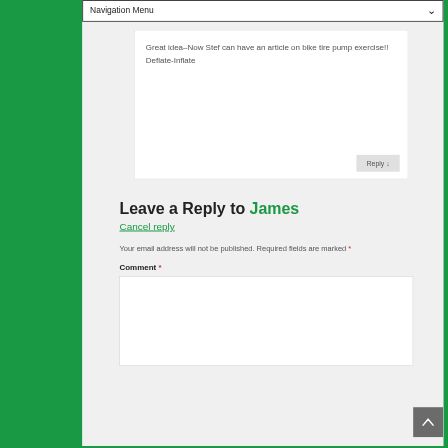Navigation Menu
Great idea–Now Stef can have an article on bike tire pump exercise!! Deflate-Inflate
Leave a Reply to James
Cancel reply
Your email address will not be published. Required fields are marked *
Comment *